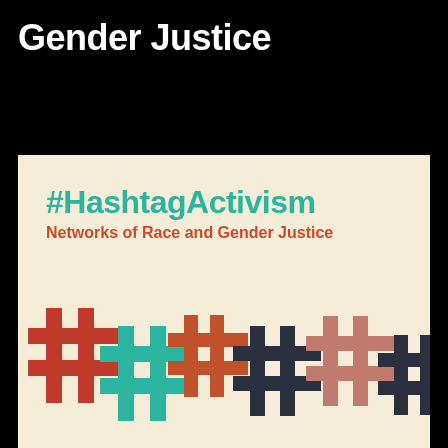Gender Justice
[Figure (illustration): Book cover for '#HashtagActivism: Networks of Race and Gender Justice'. Cream/beige background with large teal bold title '#HashtagActivism' and red-orange subtitle 'Networks of Race and Gender Justice'. Bottom portion shows overlapping large hashtag symbols in red, teal, orange, dark navy, and salmon/dusty rose colors arranged in a row.]